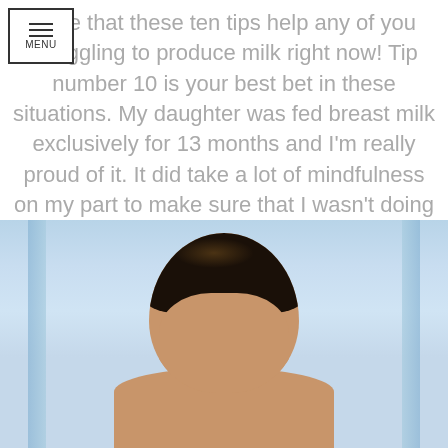hope that these ten tips help any of you struggling to produce milk right now! Tip number 10 is your best bet in these situations. My daughter was fed breast milk exclusively for 13 months and I'm really proud of it. It did take a lot of mindfulness on my part to make sure that I wasn't doing anything to limit or plummet my supply.
[Figure (photo): Photo of a person (woman) shown from the shoulders up, with dark hair pulled back, against a light blue background with vertical stripe accents.]